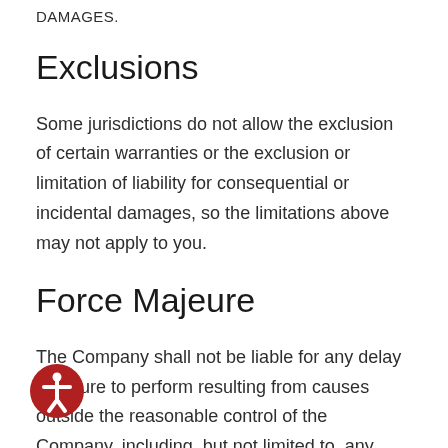DAMAGES.
Exclusions
Some jurisdictions do not allow the exclusion of certain warranties or the exclusion or limitation of liability for consequential or incidental damages, so the limitations above may not apply to you.
Force Majeure
The Company shall not be liable for any delay or failure to perform resulting from causes outside the reasonable control of the Company, including, but not limited to, any failure to perform the obligations hereunder or those found in any additional terms, due